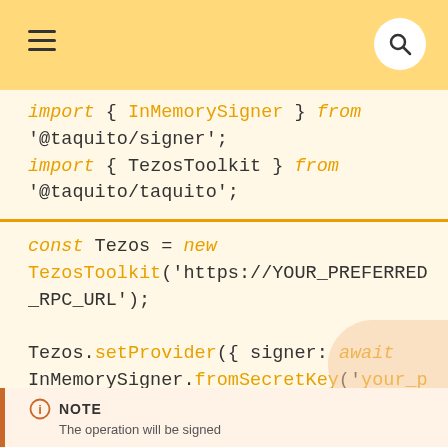Navigation header with hamburger menu and search button
import { InMemorySigner } from '@taquito/signer';
import { TezosToolkit } from '@taquito/taquito';

const Tezos = new TezosToolkit('https://YOUR_PREFERRED_RPC_URL');

Tezos.setProvider({ signer: await InMemorySigner.fromSecretKey('your_private_key') });
NOTE
The operation will be signed